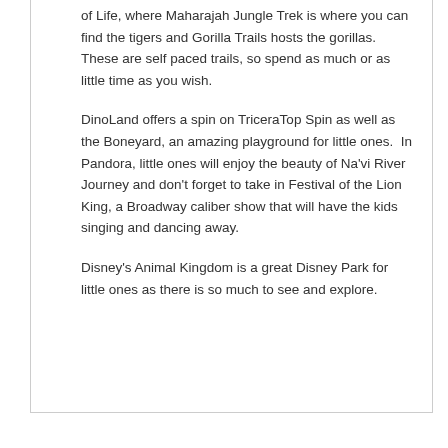of Life, where Maharajah Jungle Trek is where you can find the tigers and Gorilla Trails hosts the gorillas. These are self paced trails, so spend as much or as little time as you wish.
DinoLand offers a spin on TriceraTop Spin as well as the Boneyard, an amazing playground for little ones.  In Pandora, little ones will enjoy the beauty of Na'vi River Journey and don't forget to take in Festival of the Lion King, a Broadway caliber show that will have the kids singing and dancing away.
Disney's Animal Kingdom is a great Disney Park for little ones as there is so much to see and explore.